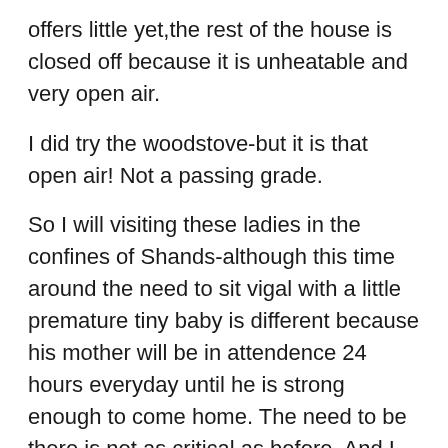offers little yet,the rest of the house is closed off because it is unheatable and very open air.
I did try the woodstove-but it is that open air! Not a passing grade.
So I will visiting these ladies in the confines of Shands-although this time around the need to sit vigal with a little premature tiny baby is different because his mother will be in attendence 24 hours everyday until he is strong enough to come home. The need to be there is not as critical as before. And I am not looking forward to having to be in the building at any length-but it will really be the only comfortable place to be!
If you look at little Jared today you would never believe he once looked like a broiler hen-he was that tiny when born. He is a clean little man and we get to be seeing him